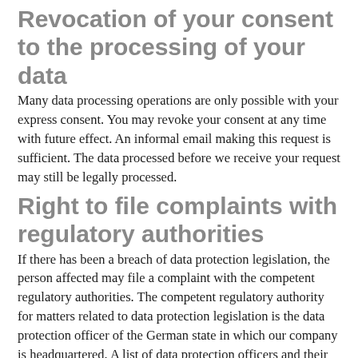Revocation of your consent to the processing of your data
Many data processing operations are only possible with your express consent. You may revoke your consent at any time with future effect. An informal email making this request is sufficient. The data processed before we receive your request may still be legally processed.
Right to file complaints with regulatory authorities
If there has been a breach of data protection legislation, the person affected may file a complaint with the competent regulatory authorities. The competent regulatory authority for matters related to data protection legislation is the data protection officer of the German state in which our company is headquartered. A list of data protection officers and their contact details can be found at the following link: